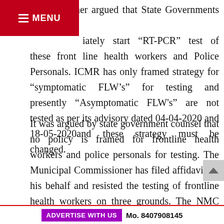MENU
The petitioner argued that State Governments must immediately start "RT-PCR" test of these front line health workers and Police Personals. ICMR has only framed strategy for "symptomatic FLW's" for testing and presently "Asymptomatic FLW's" are not tested as per its advisory dated 04-04-2020 and 18-05-2020and these strategy must be changed.
It was argued by state government counsel that no policy is framed for frontline health workers and police personals for testing. The Municipal Commissioner has filed affidavit on his behalf and resisted the testing of frontline health workers on three grounds. The NMC stated on affidavit that these Health Workers carry their job with protection and hence there is no threat to them. It also stated that if orders to test front line health workers is given then there will be huge burden on state
ADVERTISE WITH US   Mo. 8407908145